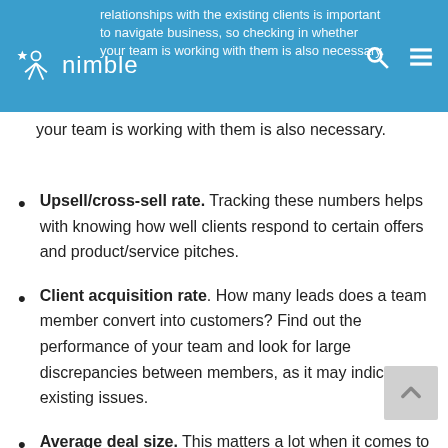nimble — relationships with the existing clients is important to navigate business, so checking in whether your team is working with them is also necessary.
your team is working with them is also necessary.
Upsell/cross-sell rate. Tracking these numbers helps with knowing how well clients respond to certain offers and product/service pitches.
Client acquisition rate. How many leads does a team member convert into customers? Find out the performance of your team and look for large discrepancies between members, as it may indicate existing issues.
Average deal size. This matters a lot when it comes to sales plus it shows you which deals are worth pursuing and which are not.